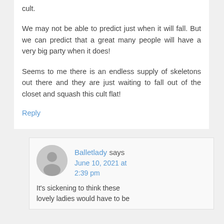cult.
We may not be able to predict just when it will fall. But we can predict that a great many people will have a very big party when it does!
Seems to me there is an endless supply of skeletons out there and they are just waiting to fall out of the closet and squash this cult flat!
Reply
Balletlady says June 10, 2021 at 2:39 pm
It's sickening to think these lovely ladies would have to be